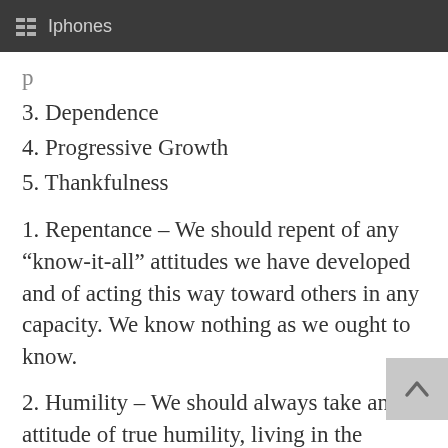Iphones
3. Dependence
4. Progressive Growth
5. Thankfulness
1. Repentance – We should repent of any “know-it-all” attitudes we have developed and of acting this way toward others in any capacity. We know nothing as we ought to know.
2. Humility – We should always take an attitude of true humility, living in the reality that we “know not” God yet in